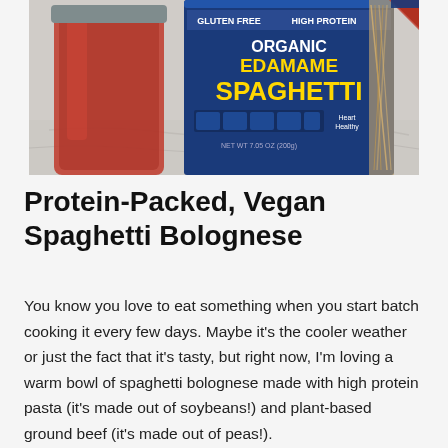[Figure (photo): A box of Organic Edamame Spaghetti (Gluten Free, High Protein) in blue packaging with yellow text, placed next to a glass jar of tomato sauce on a marble surface.]
Protein-Packed, Vegan Spaghetti Bolognese
You know you love to eat something when you start batch cooking it every few days. Maybe it's the cooler weather or just the fact that it's tasty, but right now, I'm loving a warm bowl of spaghetti bolognese made with high protein pasta (it's made out of soybeans!) and plant-based ground beef (it's made out of peas!).